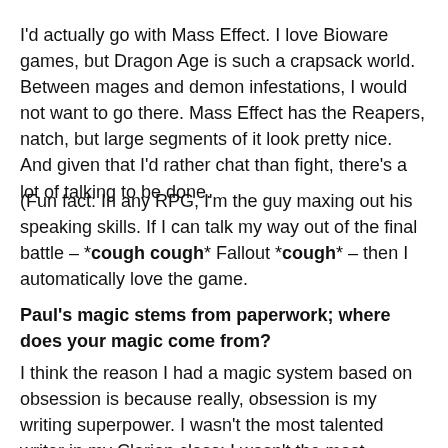…
I'd actually go with Mass Effect. I love Bioware games, but Dragon Age is such a crapsack world. Between mages and demon infestations, I would not want to go there. Mass Effect has the Reapers, natch, but large segments of it look pretty nice. And given that I'd rather chat than fight, there's a lot of talking to be done.
(Fun fact: In any RPG, I'm the guy maxing out his speaking skills. If I can talk my way out of the final battle – *cough cough* Fallout *cough* – then I automatically love the game.
Paul's magic stems from paperwork; where does your magic come from?
I think the reason I had a magic system based on obsession is because really, obsession is my writing superpower. I wasn't the most talented writer in my Clarion class; I wasn't the most…